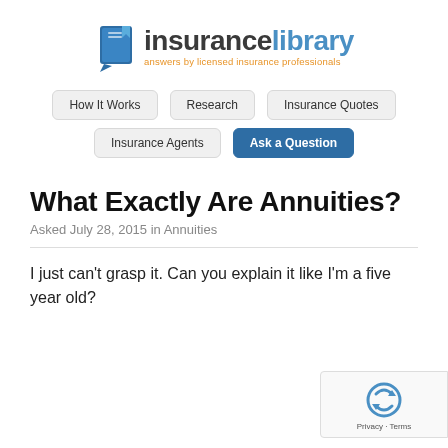[Figure (logo): InsureanceLibrary logo with blue book icon, bold text 'insurancelibrary' and orange tagline 'answers by licensed insurance professionals']
How It Works | Research | Insurance Quotes | Insurance Agents | Ask a Question
What Exactly Are Annuities?
Asked July 28, 2015 in Annuities
I just can't grasp it. Can you explain it like I'm a five year old?